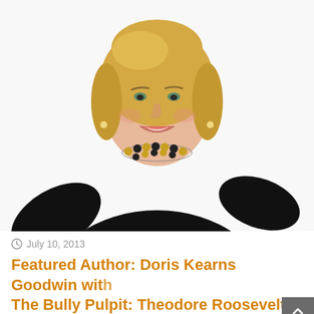[Figure (photo): Professional headshot of a smiling middle-aged woman with blonde bob haircut, wearing a black sleeveless top and a gold and dark bead necklace, against a white background.]
July 10, 2013
Featured Author: Doris Kearns Goodwin with The Bully Pulpit: Theodore Roosevelt, William Howard Taft and the Golden Age of Journalism